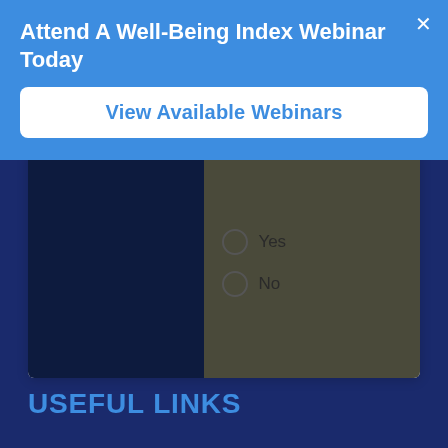Attend A Well-Being Index Webinar Today
View Available Webinars
[Figure (screenshot): A survey form interface showing radio button options for Yes and No on a dark background]
USEFUL LINKS